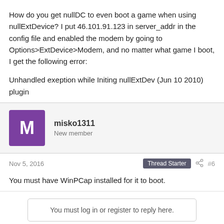How do you get nullDC to even boot a game when using nullExtDevice? I put 46.101.91.123 in server_addr in the config file and enabled the modem by going to Options>ExtDevice>Modem, and no matter what game I boot, I get the following error:
Unhandled exeption while Initing nullExtDev (Jun 10 2010) plugin
misko1311
New member
Nov 5, 2016
Thread Starter
#6
You must have WinPCap installed for it to boot.
You must log in or register to reply here.
Share: